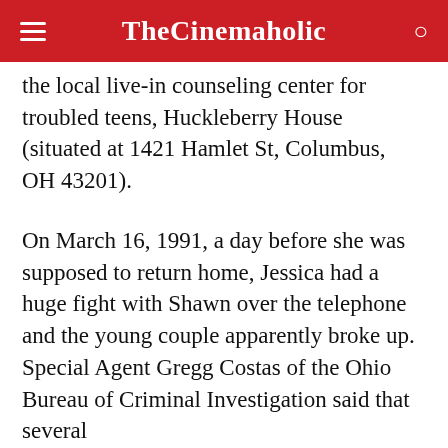TheCinemaholic
the local live-in counseling center for troubled teens, Huckleberry House (situated at 1421 Hamlet St, Columbus, OH 43201).
On March 16, 1991, a day before she was supposed to return home, Jessica had a huge fight with Shawn over the telephone and the young couple apparently broke up. Special Agent Gregg Costas of the Ohio Bureau of Criminal Investigation said that several
people at Huckleberry House witnessed Jessica and Shawn's telephone call and told the authorities later that Jessica had left the